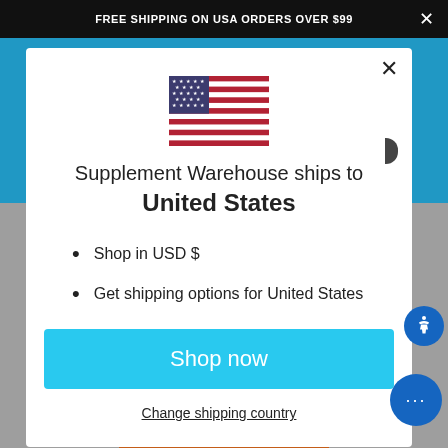FREE SHIPPING ON USA ORDERS OVER $99
[Figure (illustration): US flag emoji / illustration centered in modal]
Supplement Warehouse ships to United States
Shop in USD $
Get shipping options for United States
Shop now
Change shipping country